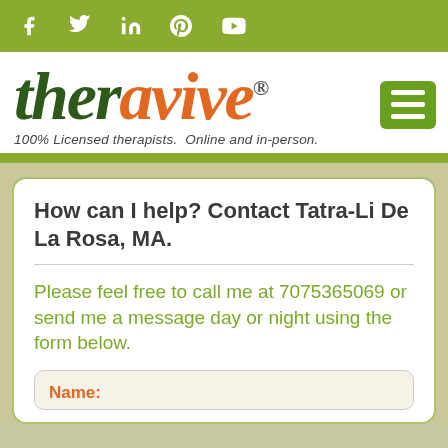[Figure (screenshot): Social media icons bar (Facebook, Twitter, LinkedIn, Pinterest, YouTube) on olive green background]
[Figure (logo): Theravive logo — 'ther' in dark green italic, 'a' in orange italic, 'vive' in orange italic, registered trademark symbol, with tagline '100% Licensed therapists. Online and in-person.']
How can I help? Contact Tatra-Li De La Rosa, MA.
Please feel free to call me at 7075365069 or send me a message day or night using the form below.
Name: